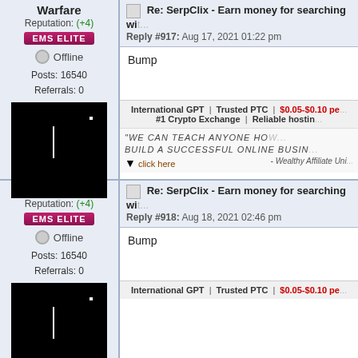Warfare
Reputation: (+4)
EMS ELITE
Offline
Posts: 16540
Referrals: 0
[Figure (photo): Black avatar image with white vertical line]
Re: SerpClix - Earn money for searching wi...
Reply #917: Aug 17, 2021 01:22 pm
Bump
International GPT | Trusted PTC | $0.05-$0.10 pe...
#1 Crypto Exchange | Reliable hostin...
"WE CAN TEACH ANYONE HO...
BUILD A SUCCESSFUL ONLINE BUSIN...
- Wealthy Affiliate Uni...
Warfare
Reputation: (+4)
EMS ELITE
Offline
Posts: 16540
Referrals: 0
[Figure (photo): Black avatar image with white vertical line]
Re: SerpClix - Earn money for searching wi...
Reply #918: Aug 18, 2021 02:46 pm
Bump
International GPT | Trusted PTC | $0.05-$0.10 pe...